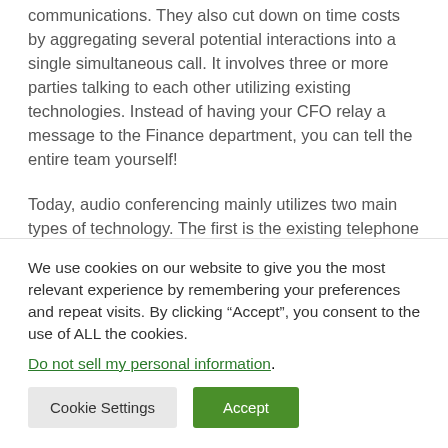communications. They also cut down on time costs by aggregating several potential interactions into a single simultaneous call. It involves three or more parties talking to each other utilizing existing technologies. Instead of having your CFO relay a message to the Finance department, you can tell the entire team yourself!
Today, audio conferencing mainly utilizes two main types of technology. The first is the existing telephone infrastructure. The parties to the call are basically dialed in
We use cookies on our website to give you the most relevant experience by remembering your preferences and repeat visits. By clicking “Accept”, you consent to the use of ALL the cookies.
Do not sell my personal information.